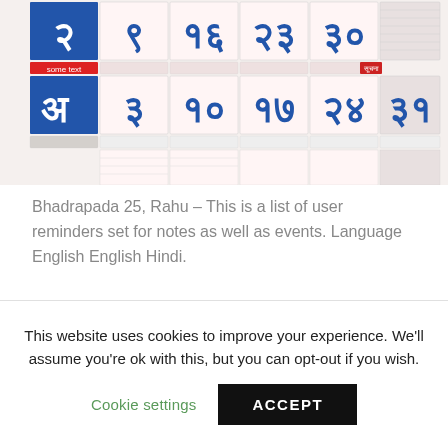[Figure (photo): A Hindu/Marathi calendar (Kalnirnay-style) showing dates in Devanagari script with blue and red numerals on a pink/white grid background.]
Bhadrapada 25, Rahu – This is a list of user reminders set for notes as well as events. Language English English Hindi.
Related Posts
KALNIRNAY 2003 PDF
INSANITY ASYLUM P90X CALENDAR PDF
BERNHARD HENNEN DIE ELFEN PDF
ARCHIL PERSONALITATH PDF
This website uses cookies to improve your experience. We'll assume you're ok with this, but you can opt-out if you wish.
Cookie settings
ACCEPT